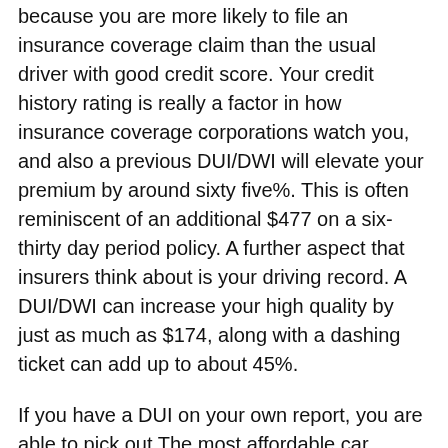because you are more likely to file an insurance coverage claim than the usual driver with good credit score. Your credit history rating is really a factor in how insurance coverage corporations watch you, and also a previous DUI/DWI will elevate your premium by around sixty five%. This is often reminiscent of an additional $477 on a six-thirty day period policy. A further aspect that insurers think about is your driving record. A DUI/DWI can increase your high quality by just as much as $174, along with a dashing ticket can add up to about 45%.
If you have a DUI on your own report, you are able to pick out The most affordable car insurance plan service provider. Businesses for example Point out Farm, American Loved ones, and Progressive have some great alternatives which offer reduce premiums for top-possibility motorists. They also contemplate your credit rating when identifying your high quality. Insurers look at these things when determining how much you fork out for your personal plan. A weak credit rating could potentially cause insurance plan premiums to